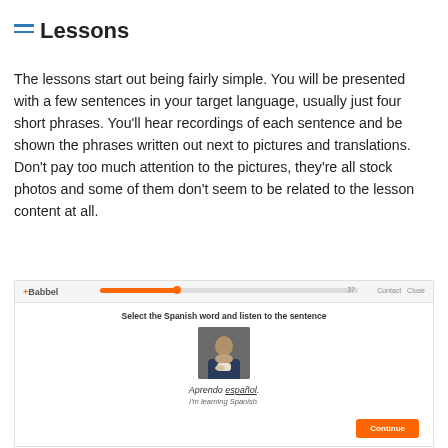Lessons
The lessons start out being fairly simple. You will be presented with a few sentences in your target language, usually just four short phrases. You'll hear recordings of each sentence and be shown the phrases written out next to pictures and translations. Don't pay too much attention to the pictures, they're all stock photos and some of them don't seem to be related to the lesson content at all.
[Figure (screenshot): Screenshot of the Babbel app lesson interface showing a progress bar at top, instruction text 'Select the Spanish word and listen to the sentence', a photo of a man drinking coffee, the Spanish sentence 'Aprendo español.' with underline on 'español', translation 'I'm learning Spanish.' below, and a Continue button in orange at the bottom right.]